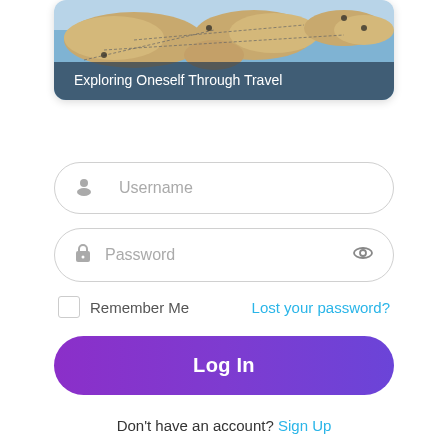[Figure (photo): Map image showing world geography with flight route lines overlaid, with a dark semi-transparent banner at the bottom reading 'Exploring Oneself Through Travel']
Exploring Oneself Through Travel
Username
Password
Remember Me
Lost your password?
Log In
Don't have an account? Sign Up